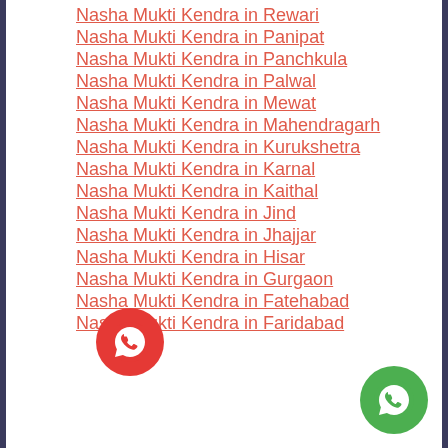Nasha Mukti Kendra in Rewari
Nasha Mukti Kendra in Panipat
Nasha Mukti Kendra in Panchkula
Nasha Mukti Kendra in Palwal
Nasha Mukti Kendra in Mewat
Nasha Mukti Kendra in Mahendragarh
Nasha Mukti Kendra in Kurukshetra
Nasha Mukti Kendra in Karnal
Nasha Mukti Kendra in Kaithal
Nasha Mukti Kendra in Jind
Nasha Mukti Kendra in Jhajjar
Nasha Mukti Kendra in Hisar
Nasha Mukti Kendra in Gurgaon
Nasha Mukti Kendra in Fatehabad
Nasha Mukti Kendra in Faridabad